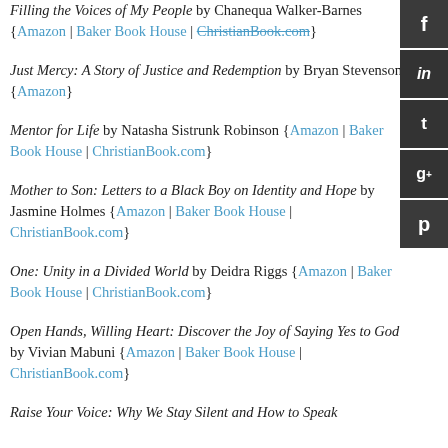Filling the Voices of My People by Chanequa Walker-Barnes {Amazon | Baker Book House | ChristianBook.com}
Just Mercy: A Story of Justice and Redemption by Bryan Stevenson {Amazon}
Mentor for Life by Natasha Sistrunk Robinson {Amazon | Baker Book House | ChristianBook.com}
Mother to Son: Letters to a Black Boy on Identity and Hope by Jasmine Holmes {Amazon | Baker Book House | ChristianBook.com}
One: Unity in a Divided World by Deidra Riggs {Amazon | Baker Book House | ChristianBook.com}
Open Hands, Willing Heart: Discover the Joy of Saying Yes to God by Vivian Mabuni {Amazon | Baker Book House | ChristianBook.com}
Raise Your Voice: Why We Stay Silent and How to Speak